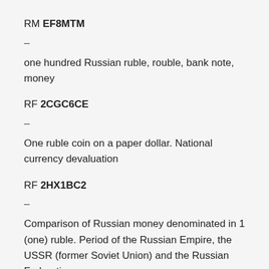RM EF8MTM
–
one hundred Russian ruble, rouble, bank note, money
RF 2CGC6CE
–
One ruble coin on a paper dollar. National currency devaluation
RF 2HX1BC2
–
Comparison of Russian money denominated in 1 (one) ruble. Period of the Russian Empire, the USSR (former Soviet Union) and the Russian Federation.